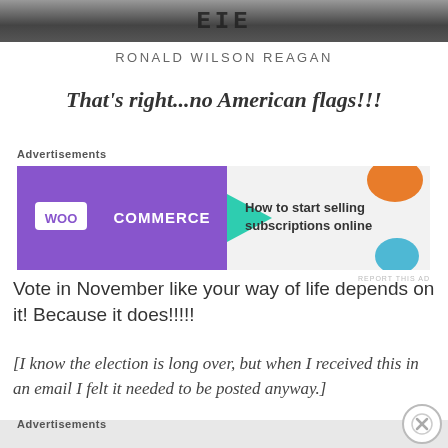[Figure (photo): Partial photo strip at top of page, appears to be a dark image with text/letters visible]
RONALD WILSON REAGAN
That's right...no American flags!!!
[Figure (other): WooCommerce advertisement banner: 'How to start selling subscriptions online']
Vote in November like your way of life depends on it! Because it does!!!!!
[I know the election is long over, but when I received this in an email I felt it needed to be posted anyway.]
Advertisements